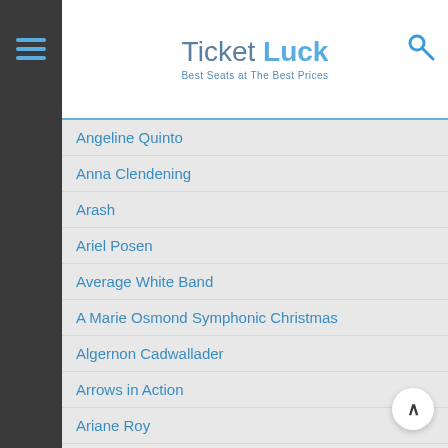Ticket Luck — Best Seats at The Best Prices
Angeline Quinto
Anna Clendening
Arash
Ariel Posen
Average White Band
A Marie Osmond Symphonic Christmas
Algernon Cadwallader
Arrows in Action
Ariane Roy
Addison Grace